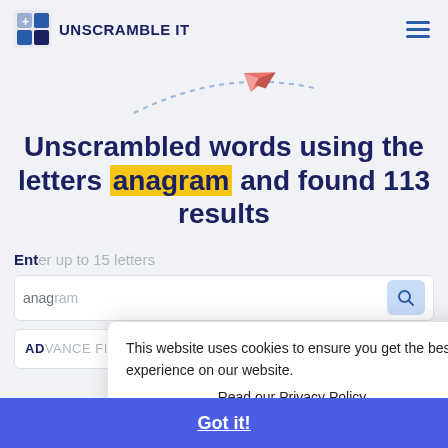[Figure (logo): Unscramble It logo with crossword grid icon and bold text 'UNSCRAMBLE IT']
Unscrambled words using the letters anagram and found 113 results
[Figure (illustration): Pink paper plane flying along a dotted arc path]
Enter up to 15 letters
anagram (search input placeholder)
ADVANCE FILTERS
This website uses cookies to ensure you get the best experience on our website.
Read our Privacy Policy
Got it!